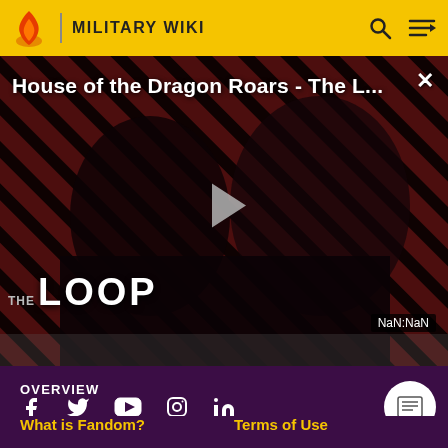MILITARY WIKI
[Figure (screenshot): Video thumbnail for 'House of the Dragon Roars - The L...' showing two figures in a dark scene with diagonal red and black stripes background, THE LOOP text overlay, play button, NaN:NaN timestamp, and close (X) button]
[Figure (infographic): Social media icons row: Facebook, Twitter, YouTube, Instagram, LinkedIn; with a white circular TOC button on the right]
OVERVIEW
What is Fandom?        Terms of Use